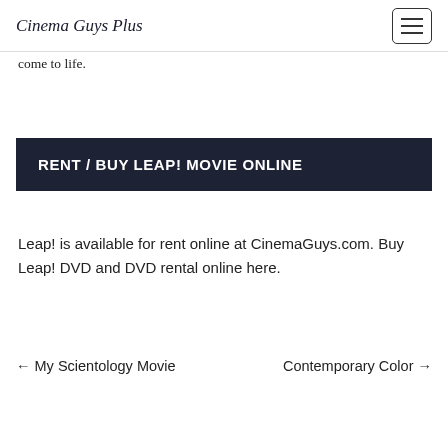Cinema Guys Plus
come to life.
RENT / BUY LEAP! MOVIE ONLINE
Leap! is available for rent online at CinemaGuys.com. Buy Leap! DVD and DVD rental online here.
← My Scientology Movie   Contemporary Color →